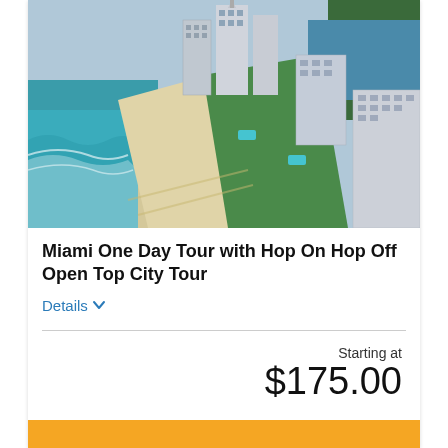[Figure (photo): Aerial view of Miami Beach coastline with luxury high-rise hotels, sandy beach, turquoise ocean waves, and a river or bay visible in the background with lush green trees]
Miami One Day Tour with Hop On Hop Off Open Top City Tour
Details
Starting at $175.00